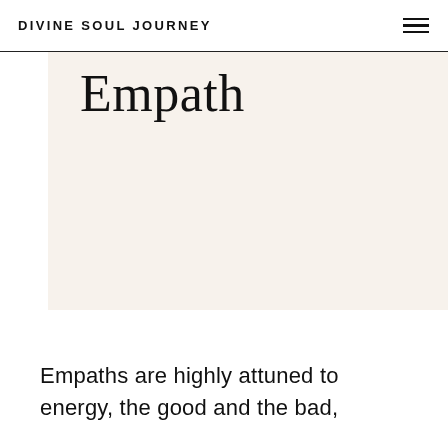DIVINE SOUL JOURNEY
Empath
Empaths are highly attuned to energy, the good and the bad,